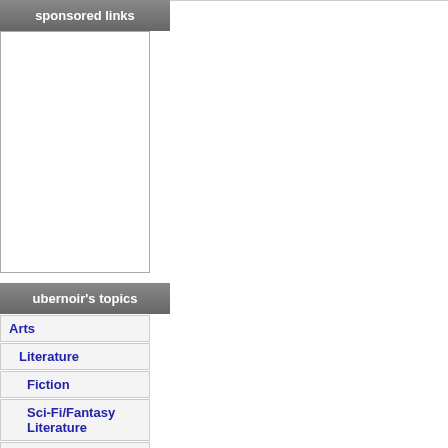sponsored links
[Figure (other): Empty white box for sponsored links advertisement area]
ubernoir's topics
Arts
Literature
Fiction
Sci-Fi/Fantasy Literature
Business